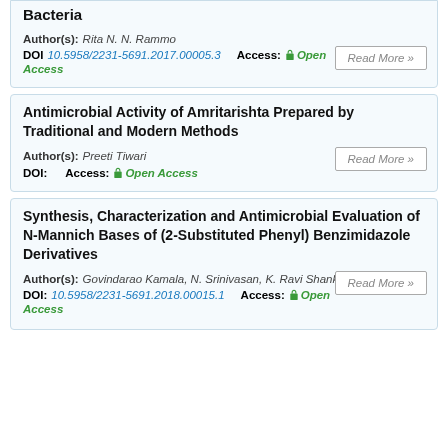Bacteria
Author(s): Rita N. N. Rammo
DOI: 10.5958/2231-5691.2017.00005.3   Access: Open Access
Read More »
Antimicrobial Activity of Amritarishta Prepared by Traditional and Modern Methods
Author(s): Preeti Tiwari
DOI:   Access: Open Access
Read More »
Synthesis, Characterization and Antimicrobial Evaluation of N-Mannich Bases of (2-Substituted Phenyl) Benzimidazole Derivatives
Author(s): Govindarao Kamala, N. Srinivasan, K. Ravi Shankar, R. Suresh
DOI: 10.5958/2231-5691.2018.00015.1   Access: Open Access
Read More »